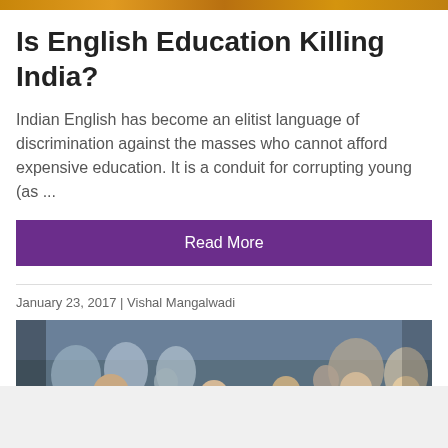[Figure (photo): Decorative banner image with warm orange/golden gradient at top of page]
Is English Education Killing India?
Indian English has become an elitist language of discrimination against the masses who cannot afford expensive education. It is a conduit for corrupting young (as ...
Read More
January 23, 2017 | Vishal Mangalwadi
[Figure (photo): Photograph of a crowd scene, appears to show a public gathering or inauguration ceremony with multiple people visible]